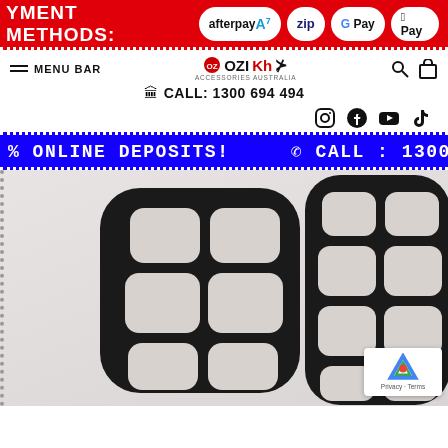PAYMENT METHODS: afterpay, Zip, G Pay, Apple Pay
MENU BAR
[Figure (logo): OziKh Accessories Australia logo with phone number CALL: 1300 694 494]
[Figure (infographic): Social media icons: Instagram, Facebook, YouTube, TikTok]
% ONLINE DEPOSITS!   ☎ CALL : 1300
[Figure (photo): Two black and white car tail light covers/grilles with grid pattern, product photo]